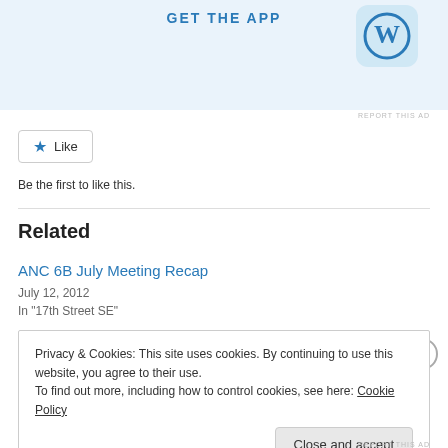[Figure (screenshot): App store banner with 'GET THE APP' text and WordPress logo on light blue background]
REPORT THIS AD
[Figure (other): Like button with star icon]
Be the first to like this.
Related
ANC 6B July Meeting Recap
July 12, 2012
In "17th Street SE"
Privacy & Cookies: This site uses cookies. By continuing to use this website, you agree to their use.
To find out more, including how to control cookies, see here: Cookie Policy
Close and accept
REPORT THIS AD